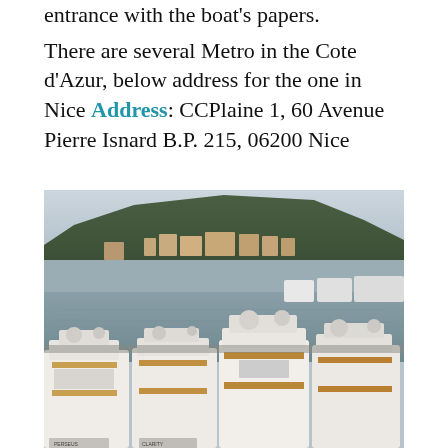entrance with the boat's papers. There are several Metro in the Cote d'Azur, below address for the one in Nice Address: CCPlaine 1, 60 Avenue Pierre Isnard B.P. 215, 06200 Nice
[Figure (photo): Aerial view of a marina filled with large luxury yachts in the foreground, with a hillside town and buildings visible in the background under an overcast sky.]